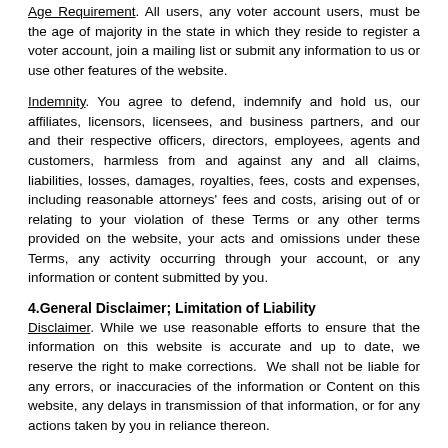Age Requirement. All users, any voter account users, must be the age of majority in the state in which they reside to register a voter account, join a mailing list or submit any information to us or use other features of the website.
Indemnity. You agree to defend, indemnify and hold us, our affiliates, licensors, licensees, and business partners, and our and their respective officers, directors, employees, agents and customers, harmless from and against any and all claims, liabilities, losses, damages, royalties, fees, costs and expenses, including reasonable attorneys' fees and costs, arising out of or relating to your violation of these Terms or any other terms provided on the website, your acts and omissions under these Terms, any activity occurring through your account, or any information or content submitted by you.
4.General Disclaimer; Limitation of Liability
Disclaimer. While we use reasonable efforts to ensure that the information on this website is accurate and up to date, we reserve the right to make corrections.  We shall not be liable for any errors, or inaccuracies of the information or Content on this website, any delays in transmission of that information, or for any actions taken by you in reliance thereon.
THIS SITE AND THE INFORMATION AND CONTENT THEREIN